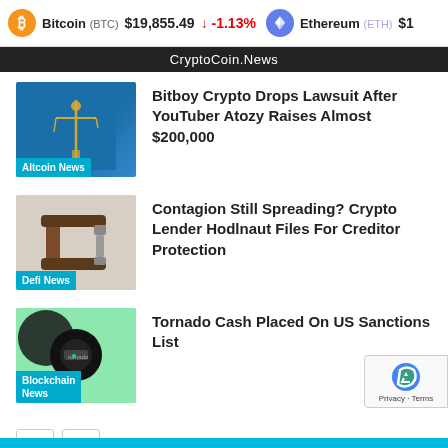Bitcoin (BTC) $19,855.49 ↓ -1.13%   Ethereum (ETH) $1...
CryptoCoin.News
[Figure (photo): Lady Justice statue on blue background, labeled Altcoin News]
Bitboy Crypto Drops Lawsuit After YouTuber Atozy Raises Almost $200,000
[Figure (photo): A C-clamp tool on light background, labeled Defi News]
Contagion Still Spreading? Crypto Lender Hodlnaut Files For Creditor Protection
[Figure (photo): Tornado Cash logo on green background, labeled Blockchain News]
Tornado Cash Placed On US Sanctions List